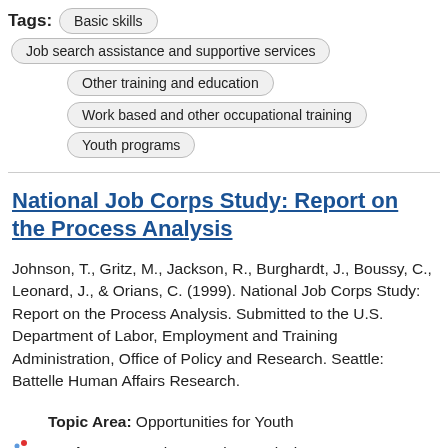Tags: Basic skills  Job search assistance and supportive services  Other training and education  Work based and other occupational training  Youth programs
National Job Corps Study: Report on the Process Analysis
Johnson, T., Gritz, M., Jackson, R., Burghardt, J., Boussy, C., Leonard, J., & Orians, C. (1999). National Job Corps Study: Report on the Process Analysis. Submitted to the U.S. Department of Labor, Employment and Training Administration, Office of Policy and Research. Seattle: Battelle Human Affairs Research.
Topic Area: Opportunities for Youth
Study Type: Implementation Analysis
Tags: Job search assistance and supportive services